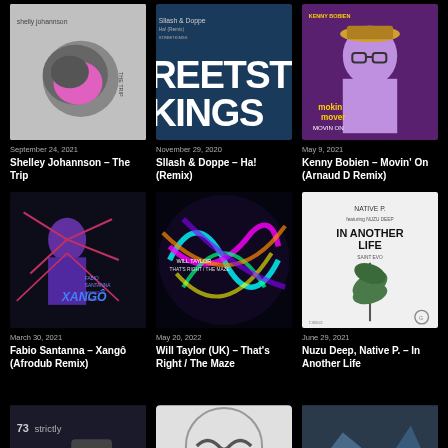[Figure (photo): Album art for Shelley Johannson – The Trip, grey/white with pink rock]
September 24, 2021
Shelley Johannson – The Trip
[Figure (photo): Album art for Sllash & Doppe – Ha! (Remix), dark blue with STREETKINGS text]
November 29, 2020
Sllash & Doppe – Ha! (Remix)
[Figure (photo): Album art for Kenny Bobien – Movin' On (Arnaud D Remix), purple with man in hat]
May 9, 2021
Kenny Bobien – Movin' On (Arnaud D Remix)
[Figure (photo): Album art for Fabio Santanna – Xangô (Afrodub Remix), dark with abstract figure]
March 30, 2021
Fabio Santanna – Xangô (Afrodub Remix)
[Figure (photo): Album art for Will Taylor (UK) – That's Right / The Maze, colorful swirling]
May 20, 2022
Will Taylor (UK) – That's Right / The Maze
[Figure (photo): Album art for Nuzu Deep, Native P. – In Another Life, white with plant]
June 29, 2021
Nuzu Deep, Native P. – In Another Life
[Figure (photo): Partial album art bottom left]
[Figure (photo): Partial album art bottom center]
[Figure (photo): Partial album art bottom right]